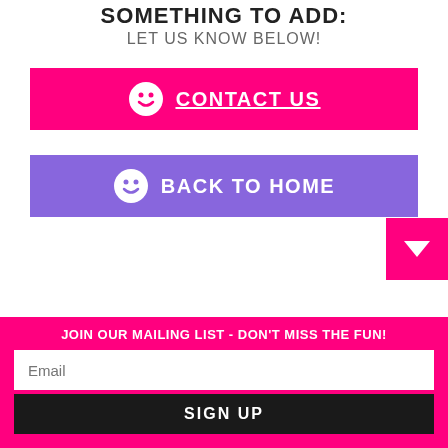SOMETHING TO ADD:
LET US KNOW BELOW!
[Figure (other): Pink button with smiley face icon and CONTACT US text]
[Figure (other): Purple button with smiley face icon and BACK TO HOME text]
[Figure (other): Pink square with downward arrow triangle]
JOIN OUR MAILING LIST - DON'T MISS THE FUN!
Email
SIGN UP